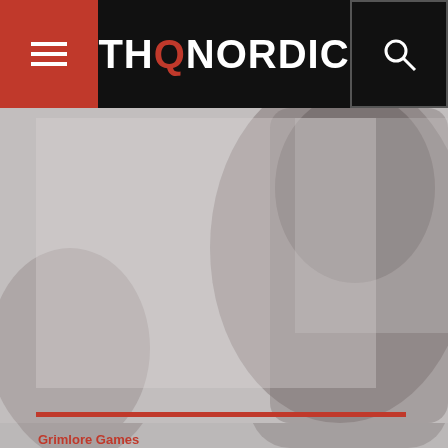THQ Nordic
[Figure (screenshot): Game screenshot or artwork showing a dark armored figure with helmet, rendered in desaturated red/gray tones. THQ Nordic website page for a game product.]
Grimlore Games
Windows / PS5 / XBOX SERIES X|S / PS4 / XBOX ONE
https://spellforce.com
MATURE 17+  Violence
I agree